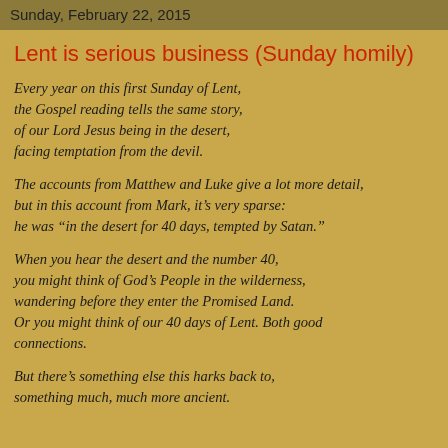Sunday, February 22, 2015
Lent is serious business (Sunday homily)
Every year on this first Sunday of Lent, the Gospel reading tells the same story, of our Lord Jesus being in the desert, facing temptation from the devil.
The accounts from Matthew and Luke give a lot more detail, but in this account from Mark, it’s very sparse: he was “in the desert for 40 days, tempted by Satan.”
When you hear the desert and the number 40, you might think of God’s People in the wilderness, wandering before they enter the Promised Land. Or you might think of our 40 days of Lent. Both good connections.
But there’s something else this harks back to, something much, much more ancient.